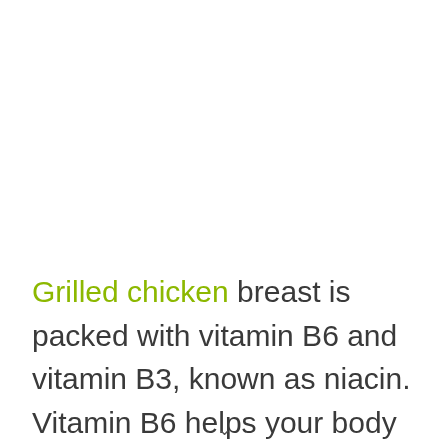Grilled chicken breast is packed with vitamin B6 and vitamin B3, known as niacin. Vitamin B6 helps your body to metabolize